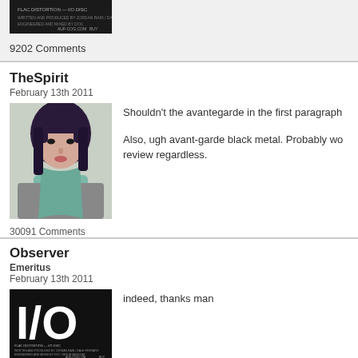[Figure (photo): Partial view of a dark album cover image at top of page (cut off)]
9202 Comments
TheSpirit
February 13th 2011
[Figure (photo): Photo of a woman with dark purple hair holding a teal scarf, looking sideways]
Shouldn't the avantegarde in the first paragraph
Also, ugh avant-garde black metal. Probably wo review regardless.
30091 Comments
Observer
Emeritus
February 13th 2011
indeed, thanks man
[Figure (photo): Dark album cover with large white text reading I/O or similar stylized letters]